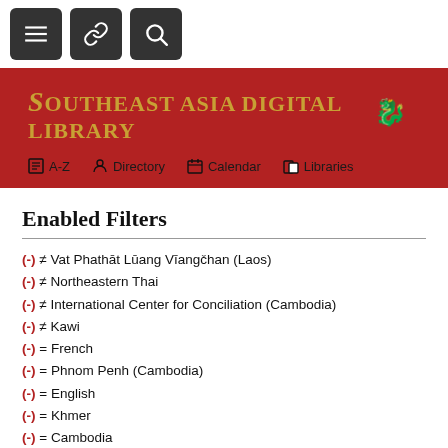[Figure (screenshot): Top toolbar with three dark square buttons: hamburger menu, link/chain icon, and search/magnifier icon]
[Figure (screenshot): Red banner with Southeast Asia Digital Library logo in gold text and decorative dragon emblem, with navigation links: A-Z, Directory, Calendar, Libraries]
Enabled Filters
(-) ≠ Vat Phathāt Lūang Vīangčhan (Laos)
(-) ≠ Northeastern Thai
(-) ≠ International Center for Conciliation (Cambodia)
(-) ≠ Kawi
(-) = French
(-) = Phnom Penh (Cambodia)
(-) = English
(-) = Khmer
(-) = Cambodia